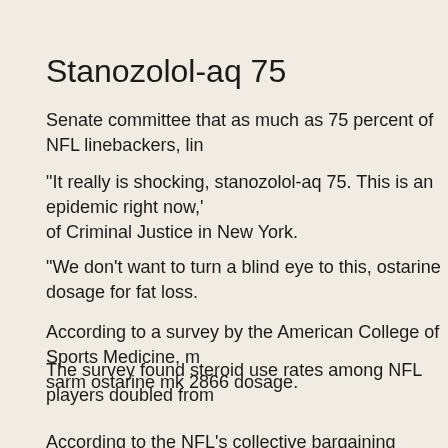Stanozolol-aq 75
Senate committee that as much as 75 percent of NFL linebackers, lin
"It really is shocking, stanozolol-aq 75. This is an epidemic right now,' of Criminal Justice in New York.
"We don't want to turn a blind eye to this, ostarine dosage for fat loss.
According to a survey by the American College of Sports Medicine, m sarm ostarine mk 2866 dosage.
The survey found steroid use rates among NFL players doubled from
According to the NFL's collective bargaining agreement, the league is study was conducted by Dr. John W. Anderson, director of the laborat found an average of 4,500 injections were made a day across the NF
There are no current statistics for the usage rates of NFL high school